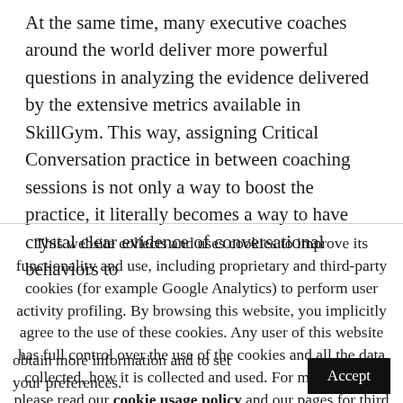At the same time, many executive coaches around the world deliver more powerful questions in analyzing the evidence delivered by the extensive metrics available in SkillGym. This way, assigning Critical Conversation practice in between coaching sessions is not only a way to boost the practice, it literally becomes a way to have crystal clear evidence of conversational behaviors to
This website collects and uses cookies to improve its functionality and use, including proprietary and third-party cookies (for example Google Analytics) to perform user activity profiling. By browsing this website, you implicitly agree to the use of these cookies. Any user of this website has full control over the use of the cookies and all the data collected, how it is collected and used. For more details, please read our cookie usage policy and our pages for third parties in order to obtain more information and to set your preferences.